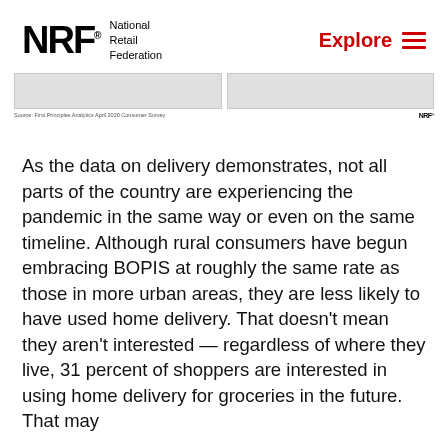NRF National Retail Federation | Explore
[Figure (photo): Two partially visible image panels from a prior page, with source note 'Source: First Principles Analytics April 2020 Consumer Survey' and NRF logo watermark]
As the data on delivery demonstrates, not all parts of the country are experiencing the pandemic in the same way or even on the same timeline. Although rural consumers have begun embracing BOPIS at roughly the same rate as those in more urban areas, they are less likely to have used home delivery. That doesn't mean they aren't interested — regardless of where they live, 31 percent of shoppers are interested in using home delivery for groceries in the future. That may